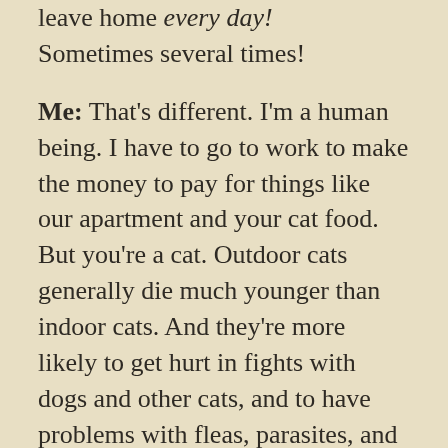leave home every day! Sometimes several times!
Me: That's different. I'm a human being. I have to go to work to make the money to pay for things like our apartment and your cat food. But you're a cat. Outdoor cats generally die much younger than indoor cats. And they're more likely to get hurt in fights with dogs and other cats, and to have problems with fleas, parasites, and illnesses.